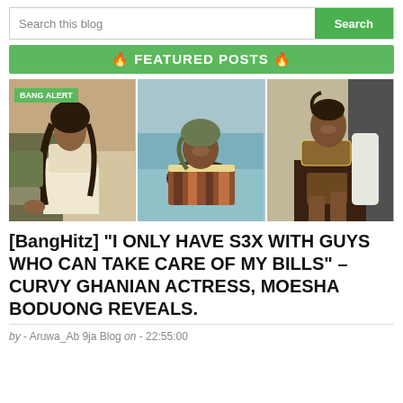Search this blog | Search
🔥 FEATURED POSTS 🔥
[Figure (photo): Three photos of women in fashionable outfits; leftmost photo has a 'BANG ALERT' label overlay]
[BangHitz] "I ONLY HAVE S3X WITH GUYS WHO CAN TAKE CARE OF MY BILLS" – CURVY GHANIAN ACTRESS, MOESHA BODUONG REVEALS.
by - Aruwa_Ab 9ja Blog on - 22:55:00